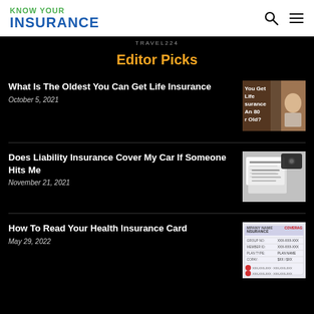KNOW YOUR INSURANCE
TRAVEL224
Editor Picks
What Is The Oldest You Can Get Life Insurance
October 5, 2021
[Figure (photo): Elderly person at a desk with brick wall background, text overlay about life insurance for an 80 year old]
Does Liability Insurance Cover My Car If Someone Hits Me
November 21, 2021
[Figure (photo): Close-up of insurance documents and paperwork]
How To Read Your Health Insurance Card
May 29, 2022
[Figure (photo): Health insurance card sample showing company name, coverage details and fields]